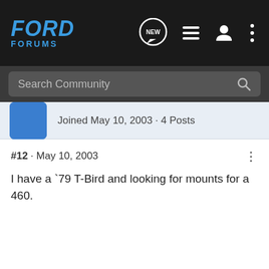FORD FORUMS
Joined May 10, 2003 · 4 Posts
#12 · May 10, 2003
I have a `79 T-Bird and looking for mounts for a 460.
1 - 12 of 12 Posts
This is a partially visible text at the bottom.